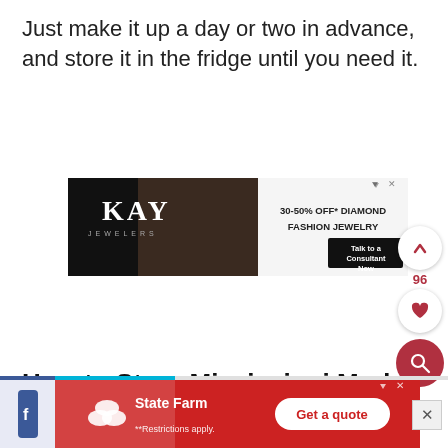Just make it up a day or two in advance, and store it in the fridge until you need it.
[Figure (screenshot): Kay Jewelers advertisement banner showing a couple, '30-50% OFF* DIAMOND FASHION JEWELRY', and a 'Talk to a Consultant Now' button]
How to Store Mississippi Mud Cake
[Figure (screenshot): State Farm advertisement banner with logo, '**Restrictions apply.' text, and a 'Get a quote' button]